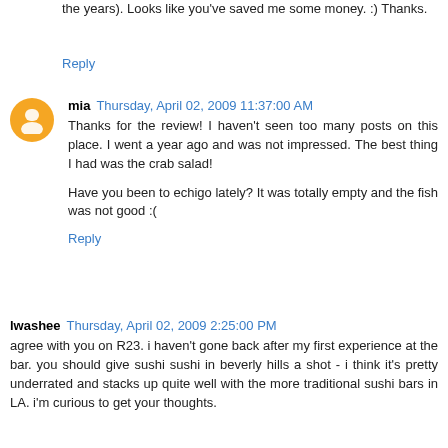the years). Looks like you've saved me some money. :) Thanks.
Reply
mia  Thursday, April 02, 2009 11:37:00 AM
Thanks for the review! I haven't seen too many posts on this place. I went a year ago and was not impressed. The best thing I had was the crab salad!
Have you been to echigo lately? It was totally empty and the fish was not good :(
Reply
lwashee  Thursday, April 02, 2009 2:25:00 PM
agree with you on R23. i haven't gone back after my first experience at the bar. you should give sushi sushi in beverly hills a shot - i think it's pretty underrated and stacks up quite well with the more traditional sushi bars in LA. i'm curious to get your thoughts.